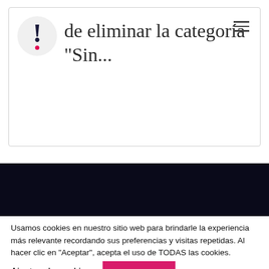[Figure (screenshot): Modal dialog with exclamation mark icon (dark circle with red dot) and text reading 'de eliminar la categoría "Sin..."' with a hamburger menu icon in the top right]
[Figure (screenshot): Dark navy background section with a partial white/grey avatar circle visible at the bottom]
Usamos cookies en nuestro sitio web para brindarle la experiencia más relevante recordando sus preferencias y visitas repetidas. Al hacer clic en "Aceptar", acepta el uso de TODAS las cookies.
Ajustes de cookies
ACEPTO